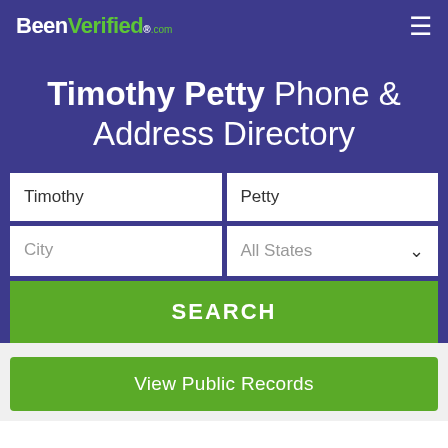BeenVerified.com
Timothy Petty Phone & Address Directory
Timothy | Petty
City | All States
SEARCH
View Public Records